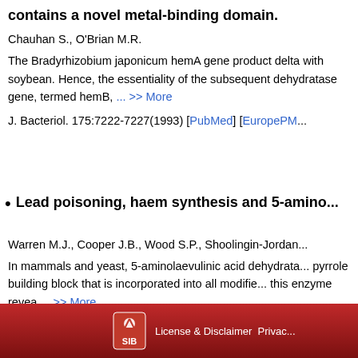contains a novel metal-binding domain.
Chauhan S., O'Brian M.R.
The Bradyrhizobium japonicum hemA gene product delta with soybean. Hence, the essentiality of the subsequent dehydratase gene, termed hemB, ... >> More
J. Bacteriol. 175:7222-7227(1993) [PubMed] [EuropePM...
Lead poisoning, haem synthesis and 5-amino...
Warren M.J., Cooper J.B., Wood S.P., Shoolingin-Jordan...
In mammals and yeast, 5-aminolaevulinic acid dehydrata... pyrrole building block that is incorporated into all modifie... this enzyme revea ... >> More
Trends Biochem Sci 23:217-221(1998) [PubMed] [Euro...
License & Disclaimer Privac...